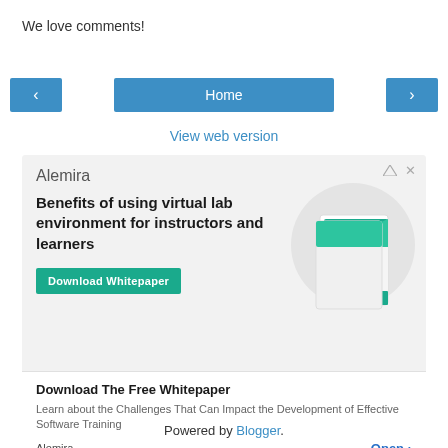We love comments!
< Home >
View web version
[Figure (screenshot): Alemira advertisement banner. Top section has Alemira brand name, headline 'Benefits of using virtual lab environment for instructors and learners', a green 'Download Whitepaper' button, and a book/whitepaper image on the right. Bottom section shows 'Download The Free Whitepaper' in bold, description text 'Learn about the Challenges That Can Impact the Development of Effective Software Training', 'Alemira' label on left and blue 'Open >' link on right.]
Powered by Blogger.